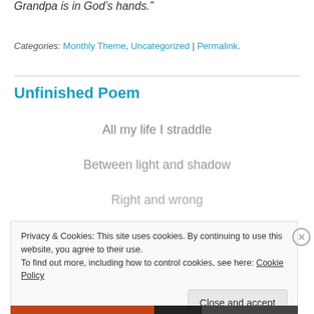Grandpa is in God’s hands.”
Categories: Monthly Theme, Uncategorized | Permalink.
Unfinished Poem
All my life I straddle
Between light and shadow
Right and wrong
Privacy & Cookies: This site uses cookies. By continuing to use this website, you agree to their use. To find out more, including how to control cookies, see here: Cookie Policy